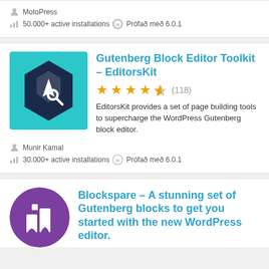MotoPress
50.000+ active installations  Prófað með 6.0.1
[Figure (logo): Gutenberg Block Editor Toolkit - EditorsKit plugin logo: teal background with dark navy hexagon pen tool icon]
Gutenberg Block Editor Toolkit – EditorsKit
★★★★½ (118)
EditorsKit provides a set of page building tools to supercharge the WordPress Gutenberg block editor.
Munir Kamal
30.000+ active installations  Prófað með 6.0.1
[Figure (logo): Blockspare plugin logo: purple circle with white building/blocks icon]
Blockspare – A stunning set of Gutenberg blocks to get you started with the new WordPress editor.